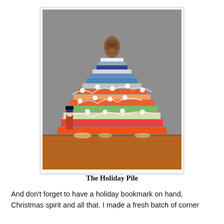[Figure (photo): A stack of books arranged in a pyramid/Christmas-tree shape, wrapped with string lights and topped with a pine cone. A small nutcracker figure stands at the base. Books are stacked on a wooden surface.]
The Holiday Pile
And don't forget to have a holiday bookmark on hand, Christmas spirit and all that. I made a fresh batch of corner